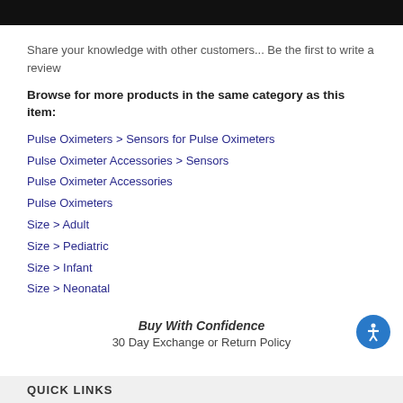[Figure (other): Black banner bar at top of page]
Share your knowledge with other customers... Be the first to write a review
Browse for more products in the same category as this item:
Pulse Oximeters > Sensors for Pulse Oximeters
Pulse Oximeter Accessories > Sensors
Pulse Oximeter Accessories
Pulse Oximeters
Size > Adult
Size > Pediatric
Size > Infant
Size > Neonatal
Buy With Confidence
30 Day Exchange or Return Policy
QUICK LINKS